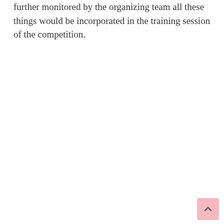…further monitored by the organizing team all these things would be incorporated in the training session of the competition.